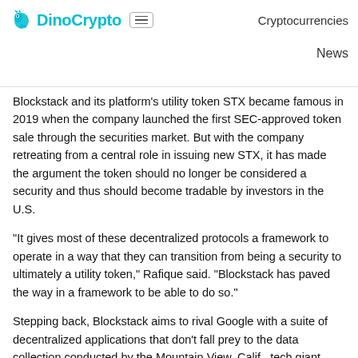DinoCrypto  Cryptocurrencies  News
Blockstack and its platform's utility token STX became famous in 2019 when the company launched the first SEC-approved token sale through the securities market. But with the company retreating from a central role in issuing new STX, it has made the argument the token should no longer be considered a security and thus should become tradable by investors in the U.S.
“It gives most of these decentralized protocols a framework to operate in a way that they can transition from being a security to ultimately a utility token,” Rafique said. “Blockstack has paved the way in a framework to be able to do so.”
Stepping back, Blockstack aims to rival Google with a suite of decentralized applications that don’t fall prey to the data collection conducted by the Mountain View, Calif., tech giant. Blockstack even rolled out an anti-Google branding campaign in 2019: “Can’t be evil.” To date, however, adoption has remained niche.